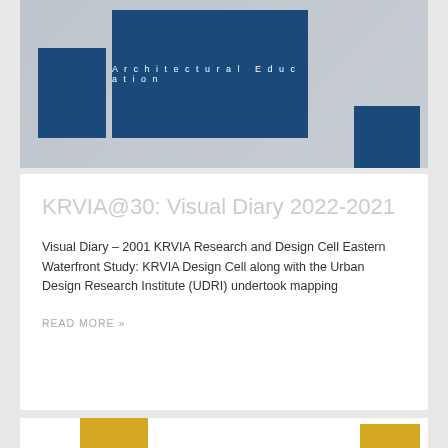[Figure (illustration): Book cover graphic with blue rectangular shapes on grey background. Text reads 'Architectural Education' in white spaced lettering on the main central blue rectangle.]
KRVIA@30: Visual Diary 2022-2021
Visual Diary – 2001 KRVIA Research and Design Cell Eastern Waterfront Study: KRVIA Design Cell along with the Urban Design Research Institute (UDRI) undertook mapping
READ MORE »
[Figure (illustration): Partial view of another card below with yellow rectangular shapes on white background, partially visible at bottom of page.]